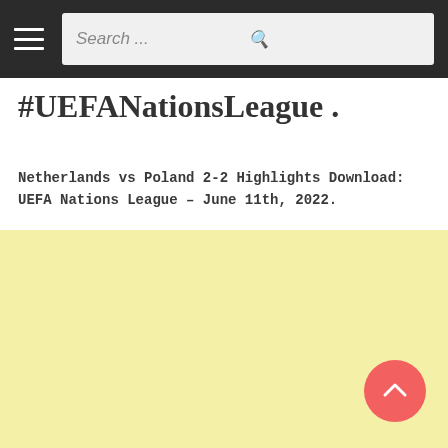Search ...
#UEFANationsLeague .
Netherlands vs Poland 2-2 Highlights Download: UEFA Nations League – June 11th, 2022.
[Figure (other): Light yellow background area, likely an advertisement or embedded content placeholder]